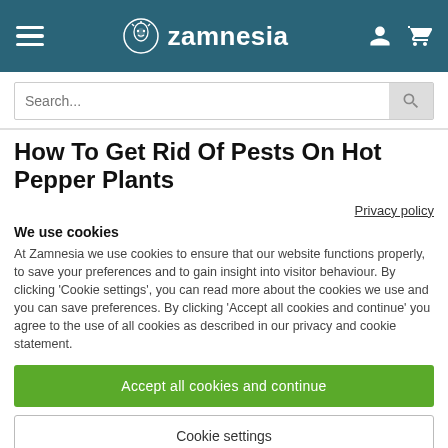Zamnesia
How To Get Rid Of Pests On Hot Pepper Plants
Privacy policy
We use cookies
At Zamnesia we use cookies to ensure that our website functions properly, to save your preferences and to gain insight into visitor behaviour. By clicking 'Cookie settings', you can read more about the cookies we use and you can save preferences. By clicking 'Accept all cookies and continue' you agree to the use of all cookies as described in our privacy and cookie statement.
Accept all cookies and continue
Cookie settings